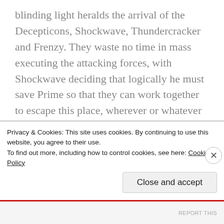blinding light heralds the arrival of the Decepticons, Shockwave, Thundercracker and Frenzy. They waste no time in mass executing the attacking forces, with Shockwave deciding that logically he must save Prime so that they can work together to escape this place, wherever or whatever it is. Prime is incensed at the casual waste of life and punches out Frenzy for making a flippant comment about wasting fuel on these 'slimeballs'.
Against his better judgement, Prime tells Shockwave about their encounter with the Cloran and the
Privacy & Cookies: This site uses cookies. By continuing to use this website, you agree to their use.
To find out more, including how to control cookies, see here: Cookie Policy
Close and accept